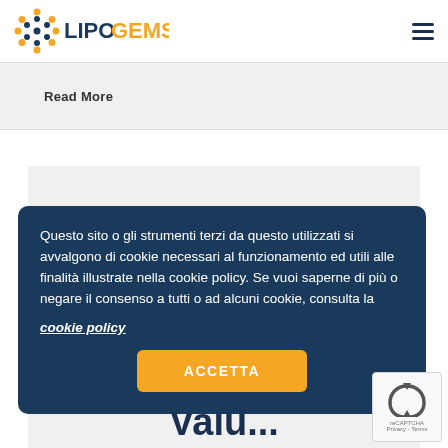LIPOGEMS
Read More
Safety and
Questo sito o gli strumenti terzi da questo utilizzati si avvalgono di cookie necessari al funzionamento ed utili alle finalità illustrate nella cookie policy. Se vuoi saperne di più o negare il consenso a tutti o ad alcuni cookie, consulta la cookie policy
ACCETTA